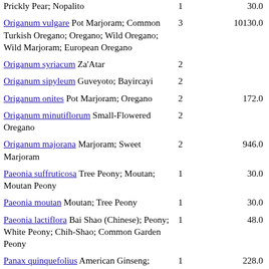| Name | Count | Value |
| --- | --- | --- |
| Prickly Pear; Nopalito | 1 | 30.0 |
| Origanum vulgare Pot Marjoram; Common Turkish Oregano; Oregano; Wild Oregano; Wild Marjoram; European Oregano | 3 | 10130.0 |
| Origanum syriacum Za'Atar | 2 |  |
| Origanum sipyleum Guveyoto; Bayircayi | 2 |  |
| Origanum onites Pot Marjoram; Oregano | 2 | 172.0 |
| Origanum minutiflorum Small-Flowered Oregano | 2 |  |
| Origanum majorana Marjoram; Sweet Marjoram | 2 | 946.0 |
| Paeonia suffruticosa Tree Peony; Moutan; Moutan Peony | 1 | 30.0 |
| Paeonia moutan Moutan; Tree Peony | 1 | 30.0 |
| Paeonia lactiflora Bai Shao (Chinese); Peony; White Peony; Chih-Shao; Common Garden Peony | 1 | 48.0 |
| Panax quinquefolius American Ginseng; Ginseng | 1 | 228.0 |
| Panax japonicus Japanese Ginseng | 1 | 40.0 |
| Panax ginseng Korean Ginseng; Oriental Ginseng; Chinese Ginseng; Ginseng | 2 |  |